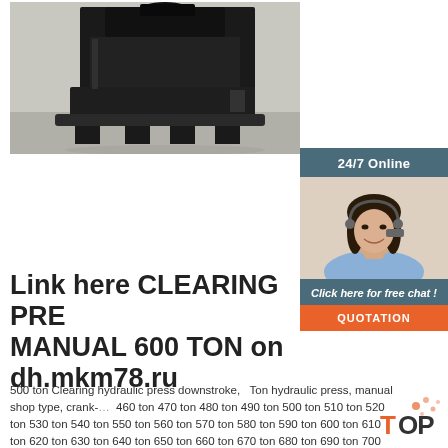[Figure (photo): Photo of a large black industrial hydraulic press machine on a factory floor]
[Figure (photo): Sidebar with '24/7 Online' header, photo of woman with headset smiling, 'Click here for free chat!' text, and orange QUOTATION button]
Link here CLEARING PRESS MANUAL 600 TON on dh.mkm78.ru
500 ton Clearing hydraulic press downstroke, Ton hydraulic press, manual shop type, crank-... 460 ton 470 ton 480 ton 490 ton 500 ton 510 ton 520 ton 530 ton 540 ton 550 ton 560 ton 570 ton 580 ton 590 ton 600 ton 610 ton 620 ton 630 ton 640 ton 650 ton 660 ton 670 ton 680 ton 690 ton 700 ton 710 ton 720 ton 730 Routine Press MaintenanceRoutine Press ...